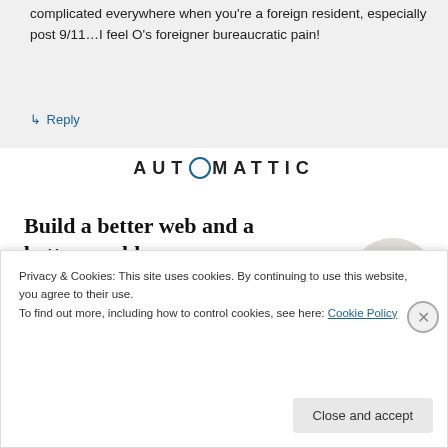complicated everywhere when you're a foreign resident, especially post 9/11…I feel O's foreigner bureaucratic pain!
↳ Reply
[Figure (logo): Automattic logo text with circular 'O' in blue]
Build a better web and a better world.
Apply
[Figure (photo): Person in a circular cropped photo, thinking pose]
Privacy & Cookies: This site uses cookies. By continuing to use this website, you agree to their use.
To find out more, including how to control cookies, see here: Cookie Policy
Close and accept